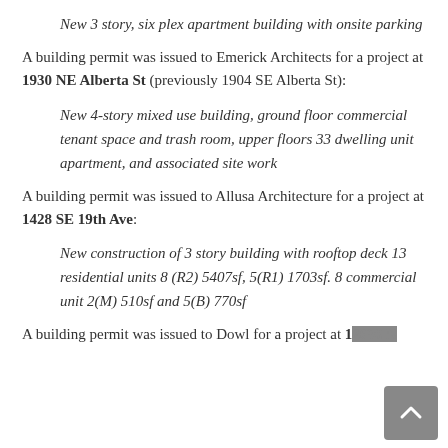New 3 story, six plex apartment building with onsite parking
A building permit was issued to Emerick Architects for a project at 1930 NE Alberta St (previously 1904 SE Alberta St):
New 4-story mixed use building, ground floor commercial tenant space and trash room, upper floors 33 dwelling unit apartment, and associated site work
A building permit was issued to Allusa Architecture for a project at 1428 SE 19th Ave:
New construction of 3 story building with rooftop deck 13 residential units 8 (R2) 5407sf, 5(R1) 1703sf. 8 commercial unit 2(M) 510sf and 5(B) 770sf
A building permit was issued to Dowl for a project at 1...